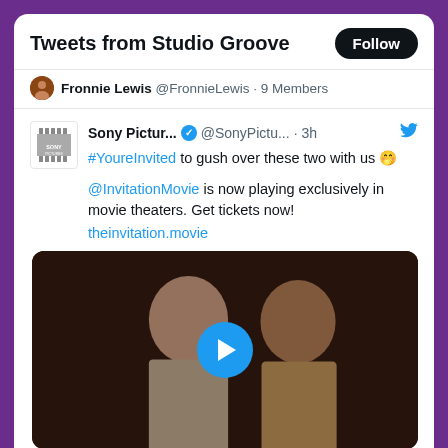Tweets from Studio Groove
Fronnie Lewis @FronnieLewis · 9 Members
Sony Pictur... ✓ @SonyPictu... · 3h
#YoureInvited to gush over these two with us 🤭
@InvitationMovie is now playing exclusively in movie theaters. Get tickets now! theinvitation.movie
[Figure (screenshot): Video thumbnail showing two people laughing, with a blue play button overlay]